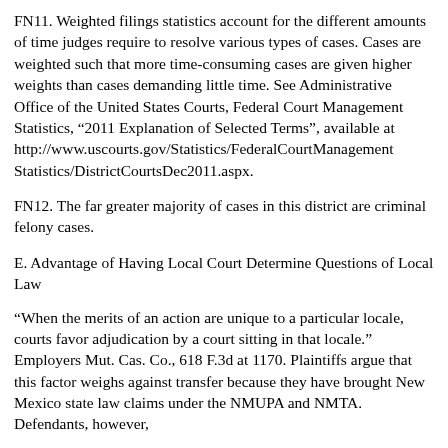FN11. Weighted filings statistics account for the different amounts of time judges require to resolve various types of cases. Cases are weighted such that more time-consuming cases are given higher weights than cases demanding little time. See Administrative Office of the United States Courts, Federal Court Management Statistics, “2011 Explanation of Selected Terms”, available at http://www.uscourts.gov/Statistics/FederalCourtManagementStatistics/DistrictCourtsDec2011.aspx.
FN12. The far greater majority of cases in this district are criminal felony cases.
E. Advantage of Having Local Court Determine Questions of Local Law
“When the merits of an action are unique to a particular locale, courts favor adjudication by a court sitting in that locale.” Employers Mut. Cas. Co., 618 F.3d at 1170. Plaintiffs argue that this factor weighs against transfer because they have brought New Mexico state law claims under the NMUPA and NMTA. Defendants, however,